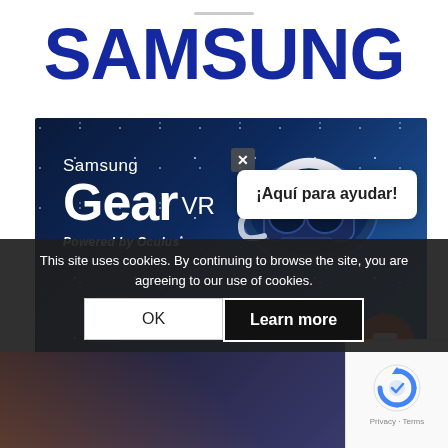[Figure (logo): Samsung logo in large blue bold text]
[Figure (screenshot): Samsung Gear VR Powered by Oculus banner with dark blue background, VR headset image, chat popup saying ¡Aquí para ayudar!, close button X, and orange chat button]
This site uses cookies. By continuing to browse the site, you are agreeing to our use of cookies.
[Figure (screenshot): Cookie consent bar with OK and Learn more buttons, reCAPTCHA badge, and bottom product image strip]